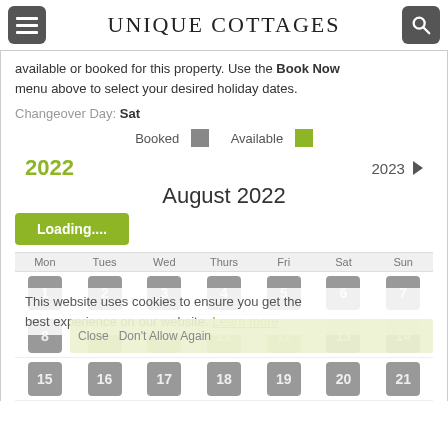UNIQUE COTTAGES
available or booked for this property. Use the Book Now menu above to select your desired holiday dates.
Changeover Day: Sat
Booked  Available
2022   2023 ▶
August 2022
Loading....
| Mon | Tues | Wed | Thurs | Fri | Sat | Sun |
| --- | --- | --- | --- | --- | --- | --- |
| 1 | 2 | 3 | 4 | 5 | 6 | 7 |
| 8 | 9 | 10 | 11 | 12 | 13 | 14 |
| 15 | 16 | 17 | 18 | 19 | 20 | 21 |